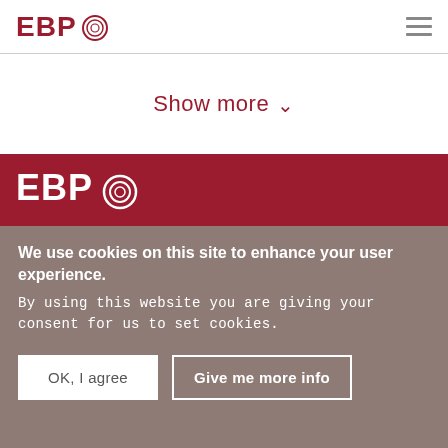EBPO
Show more
[Figure (logo): EBPO logo in white on red background banner]
We use cookies on this site to enhance your user experience. By using this website you are giving your consent for us to set cookies.
OK, I agree
Give me more info